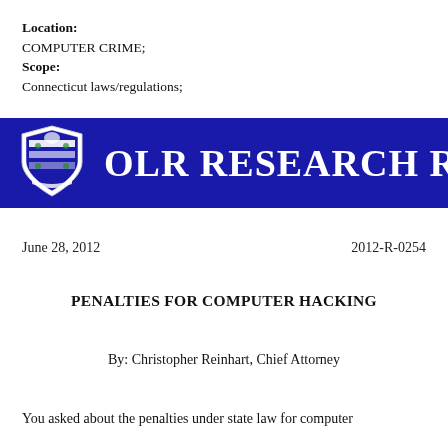Location:
COMPUTER CRIME;
Scope:
Connecticut laws/regulations;
[Figure (logo): OLR Research Report banner with Connecticut state seal on dark blue background, text reads OLR RESEARCH R (cropped)]
June 28, 2012
2012-R-0254
PENALTIES FOR COMPUTER HACKING
By: Christopher Reinhart, Chief Attorney
You asked about the penalties under state law for computer